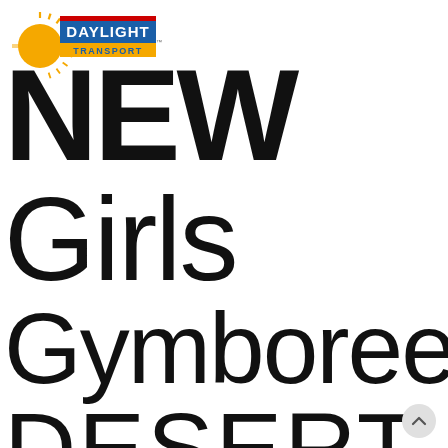[Figure (logo): Daylight Transport logo with sunburst graphic in orange/yellow, 'DAYLIGHT' in bold blue text with red bar above, 'TRANSPORT' below in blue on yellow stripe]
NEW
Girls
Gymboree
DESERT